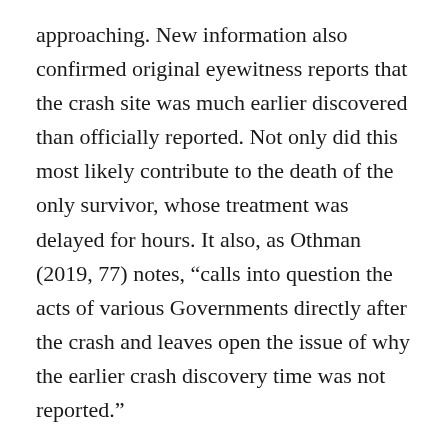approaching. New information also confirmed original eyewitness reports that the crash site was much earlier discovered than officially reported. Not only did this most likely contribute to the death of the only survivor, whose treatment was delayed for hours. It also, as Othman (2019, 77) notes, “calls into question the acts of various Governments directly after the crash and leaves open the issue of why the earlier crash discovery time was not reported.”
Most importantly, for Othman (2019, 19) “it remains plausible that an external attack or threat was a cause of the crash”. Othman (2019, 7)  therefore recommends: